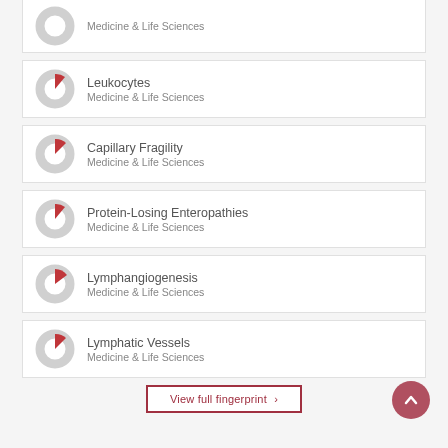Medicine & Life Sciences
Leukocytes
Medicine & Life Sciences
Capillary Fragility
Medicine & Life Sciences
Protein-Losing Enteropathies
Medicine & Life Sciences
Lymphangiogenesis
Medicine & Life Sciences
Lymphatic Vessels
Medicine & Life Sciences
View full fingerprint ›